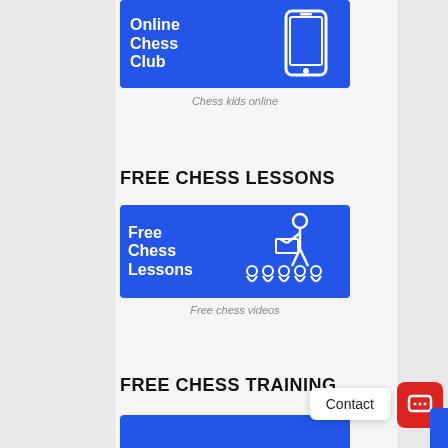[Figure (illustration): Blue banner with 'Online Chess Club' text in white bold and a white smartphone icon on the right]
Chess kids online
FREE CHESS LESSONS
[Figure (illustration): Blue banner with 'Free Chess Lessons' text in white bold and a white illustration of a teacher pointing at a board with students seated]
Free chess videos
FREE CHESS TRAINING
[Figure (illustration): Partial blue banner at bottom of page for Free Chess Training section]
Contact